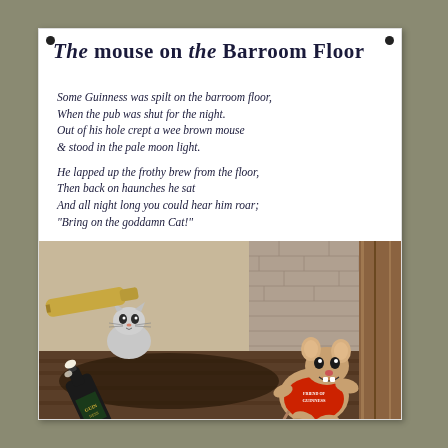The mouse on the Barroom Floor
Some Guinness was spilt on the barroom floor,
When the pub was shut for the night.
Out of his hole crept a wee brown mouse
& stood in the pale moon light.

He lapped up the frothy brew from the floor,
Then back on haunches he sat
And all night long you could hear him roar;
"Bring on the goddamn Cat!"
[Figure (illustration): Illustration of a cartoon mouse in a red Guinness t-shirt leaning drunkenly against a wooden post, with a tipped-over Guinness bottle, and a worried cat peeking from behind a barrel. Barroom floor and brick wall background.]